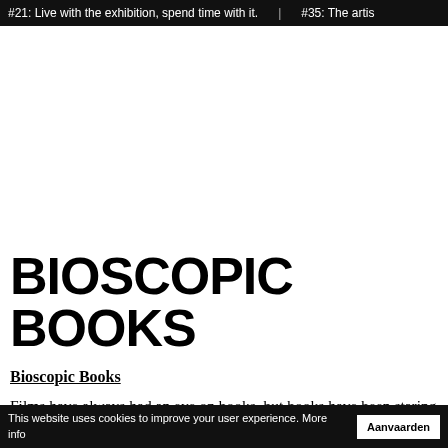#21: Live with the exhibition, spend time with it.   |   #35: The artis
BIOSCOPIC BOOKS
Bioscopic Books
Films have always had an eye on books, but books have been staring right back at them, fascinated
This website uses cookies to improve your user experience. More info   Aanvaarden